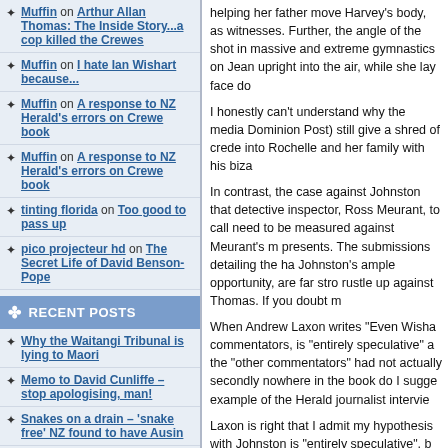Muffin on Arthur Allan Thomas: The Inside Story...a cop killed the Crewes
Muffin on I hate Ian Wishart because...
Muffin on A response to NZ Herald's errors on Crewe book
Muffin on A response to NZ Herald's errors on Crewe book
tinting florida on Too good to pass up
pico projecteur hd on The Secret Life of David Benson-Pope
RECENT POSTS
Why the Waitangi Tribunal is lying to Maori
Memo to David Cunliffe – stop apologising, man!
Snakes on a drain – 'snake free' NZ found to have Ausin
helping her father move Harvey's body, as witnesses. Further, the angle of the shot in massive and extreme gymnastics on Jean upright into the air, while she lay face do
I honestly can't understand why the media Dominion Post) still give a shred of crede into Rochelle and her family with his biza
In contrast, the case against Johnston that detective inspector, Ross Meurant, to call need to be measured against Meurant's m presents. The submissions detailing the ha Johnston's ample opportunity, are far stro rustle up against Thomas. If you doubt m
When Andrew Laxon writes "Even Wisha commentators, is "entirely speculative" a the "other commentators" had not actually secondly nowhere in the book do I sugge example of the Herald journalist intervie
Laxon is right that I admit my hypothesis with Johnston is "entirely speculative", b circumstantial and direct testimony, and i that convicted Thomas and stronger than
Ultimately, the test of whether I've made for themselves, but I can't let Laxon's mis and the Herald refused to correct their em mistakes in Laxon's piece that I brought t
Example? Well, the Herald's citer and